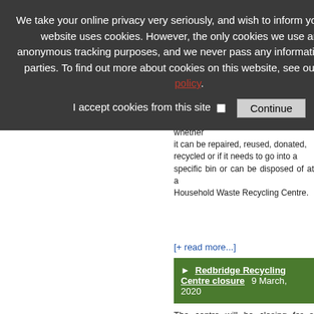We take your online privacy very seriously, and wish to inform you that this website uses cookies. However, the only cookies we use are for anonymous tracking purposes, and we never pass any information to third parties. To find out more about cookies on this website, see our privacy policy.
I accept cookies from this site  [checkbox]  Continue
The Waste Wizard
county... bell that sometimes cast over residents when it's time to... The online tool allows anyone bewitched by the bin to type in the name of any item along with their postcode to find out whether it can be repaired, reused, donated, recycled or if it needs to go into a specific bin or can be disposed of at a Household Waste Recycling Centre.
[+ read more...]
Redbridge Recycling Centre closure   9 March, 2020
The centre will be closing for a deep clean on 10 & 11 March